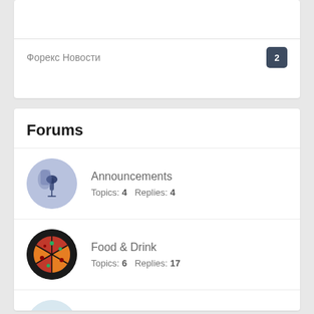Форекс Новости
2
Forums
Announcements — Topics: 4  Replies: 4
Food & Drink — Topics: 6  Replies: 17
Technology — Topics: 4  Replies: 7